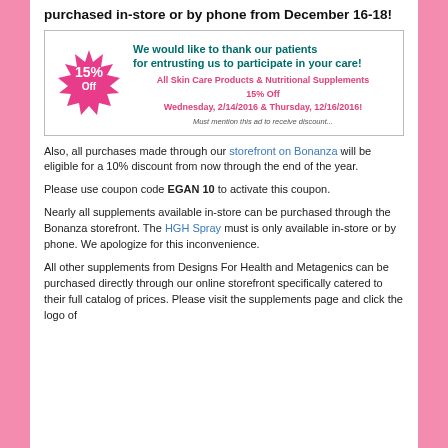purchased in-store or by phone from December 16-18!
[Figure (infographic): Ad box with a pink starburst showing '15% Off' and teal text thanking patients, with pink subtext about All Skin Care Products & Nutritional Supplements 15% Off, Wednesday 2/14/2016 & Thursday 12/16/2016, must mention this ad to receive discount.]
Also, all purchases made through our storefront on Bonanza will be eligible for a 10% discount from now through the end of the year.
Please use coupon code EGAN 10 to activate this coupon.
Nearly all supplements available in-store can be purchased through the Bonanza storefront. The HGH Spray must is only available in-store or by phone. We apologize for this inconvenience.
All other supplements from Designs For Health and Metagenics can be purchased directly through our online storefront specifically catered to their full catalog of prices. Please visit the supplements page and click the logo of